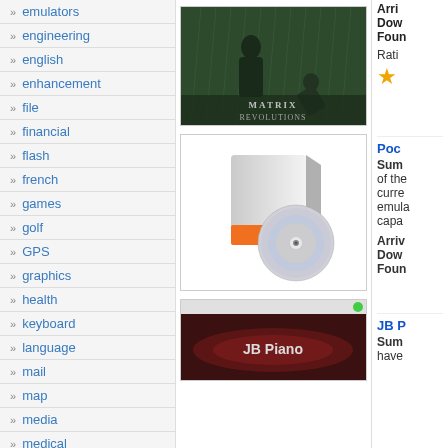emulators
engineering
english
enhancement
file
financial
flash
french
games
golf
GPS
graphics
health
keyboard
language
mail
map
media
medical
[Figure (screenshot): Matrix Revolutions movie image showing a fight scene in rain with the movie logo]
Arri
Dow
Foun
Rati
[Figure (illustration): Software box icon with orange base and a CD/DVD disc leaning against it]
Poc
Sum of the curre emula capa
Arriv
Dow
Foun
[Figure (screenshot): JB Piano app screenshot showing piano keyboard on dark red background with green indicator]
JB P
Sum have